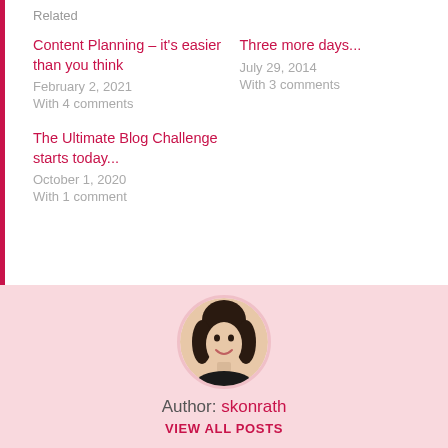Related
Content Planning – it's easier than you think
February 2, 2021
With 4 comments
Three more days...
July 29, 2014
With 3 comments
The Ultimate Blog Challenge starts today...
October 1, 2020
With 1 comment
[Figure (photo): Circular avatar photo of a smiling woman with dark hair]
Author: skonrath
VIEW ALL POSTS